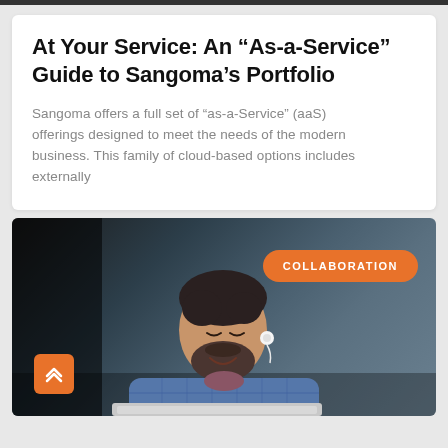At Your Service: An “As-a-Service” Guide to Sangoma’s Portfolio
Sangoma offers a full set of “as-a-Service” (aaS) offerings designed to meet the needs of the modern business. This family of cloud-based options includes externally
[Figure (photo): Man with beard wearing blue plaid shirt, smiling and looking down at a laptop, with a wireless earbud in his ear. Background is dark grey-blue. An orange pill-shaped badge reads COLLABORATION in the upper right. An orange square scroll-to-top button with double chevron is in the lower left.]